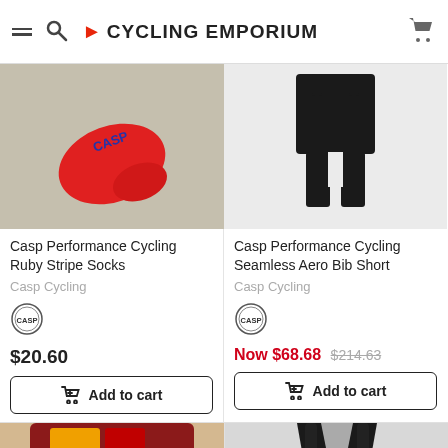CYCLING EMPORIUM
[Figure (photo): Red Casp cycling sock on beige carpet]
Casp Performance Cycling Ruby Stripe Socks
Casp Cycling
[Figure (logo): CASP circular logo badge]
$20.60
Add to cart
[Figure (photo): Black cycling bib shorts on white background]
Casp Performance Cycling Seamless Aero Bib Short
Casp Cycling
[Figure (logo): CASP circular logo badge]
Now $68.68  $214.63
Add to cart
[Figure (photo): Partial view of colorful cycling cap at bottom left]
[Figure (photo): Partial view of black cycling garment at bottom right]